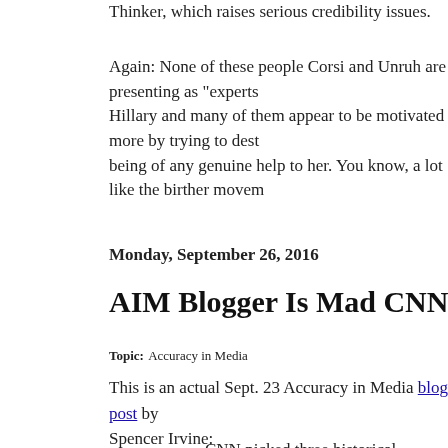Thinker, which raises serious credibility issues.
Again: None of these people Corsi and Unruh are presenting as "experts" Hillary and many of them appear to be motivated more by trying to dest being of any genuine help to her. You know, a lot like the birther movem
Monday, September 26, 2016
AIM Blogger Is Mad CNN Didn't Source The
Topic: Accuracy in Media
This is an actual Sept. 23 Accuracy in Media blog post by Spencer Irvine:
CNN picked three historical markers, without sourcing, to say the following about the GOP presidential nominee:
At a rally in North Carolina on Tuesday, Donald Trump, the Republican nominee